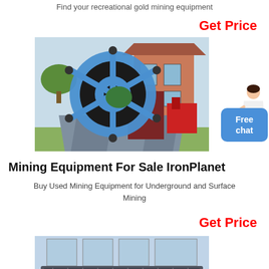Find your recreational gold mining equipment
Get Price
[Figure (photo): Large industrial sand washing wheel/screw machine with blue wheel, dark red trough, and gray structure, displayed outdoors with other red mining equipment and a building in the background]
Free chat
Mining Equipment For Sale IronPlanet
Buy Used Mining Equipment for Underground and Surface Mining
Get Price
[Figure (photo): Indoor industrial conveyor belt or shaker table equipment, dark gray, on a factory floor with large windows in the background]